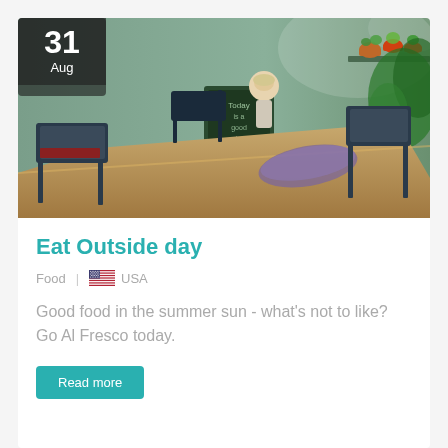[Figure (photo): Outdoor cafe scene with wooden tables, chairs, potted plants on shelves, and a chalkboard menu sign. A decorative doll figure is visible. The scene has a warm, summery feel.]
Eat Outside day
Food  |  🇺🇸  USA
Good food in the summer sun - what's not to like? Go Al Fresco today.